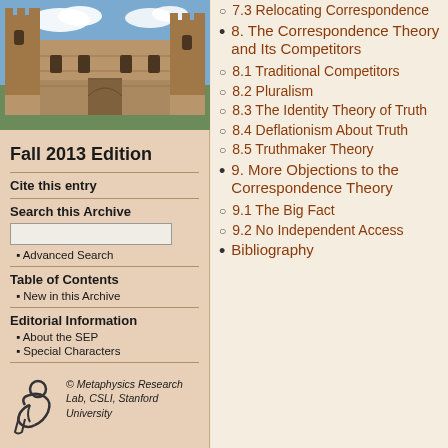[Figure (photo): Photograph of a Gothic-style university building with stone architecture and courtyard, blue sky with clouds]
Fall 2013 Edition
Cite this entry
Search this Archive
• Advanced Search
Table of Contents
• New in this Archive
Editorial Information
• About the SEP
• Special Characters
© Metaphysics Research Lab, CSLI, Stanford University
7.3 Relocating Correspondence
8. The Correspondence Theory and Its Competitors
8.1 Traditional Competitors
8.2 Pluralism
8.3 The Identity Theory of Truth
8.4 Deflationism About Truth
8.5 Truthmaker Theory
9. More Objections to the Correspondence Theory
9.1 The Big Fact
9.2 No Independent Access
Bibliography